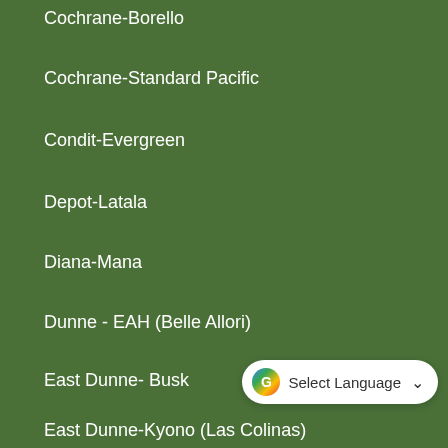Cochrane-Borello
Cochrane-Standard Pacific
Condit-Evergreen
Depot-Latala
Diana-Mana
Dunne - EAH (Belle Allori)
East Dunne- Busk
East Dunne-Kyono (Las Colinas)
East Dunne Park (Dunne-KB Home)